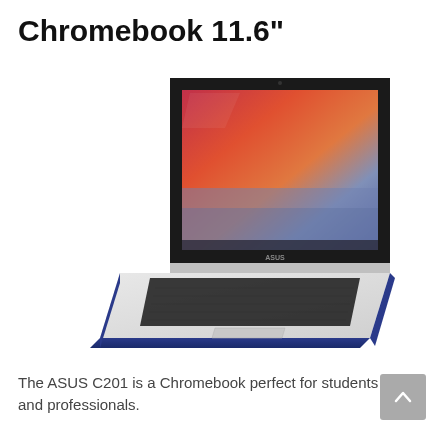Chromebook 11.6"
[Figure (photo): ASUS C201 Chromebook laptop shown at an angle, open, with a colorful sunset/lake wallpaper on screen. Silver body with dark blue edges and black keyboard.]
The ASUS C201 is a Chromebook perfect for students and professionals.